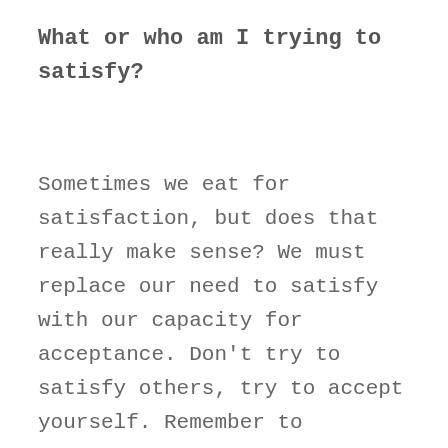What or who am I trying to satisfy?
Sometimes we eat for satisfaction, but does that really make sense? We must replace our need to satisfy with our capacity for acceptance. Don't try to satisfy others, try to accept yourself. Remember to